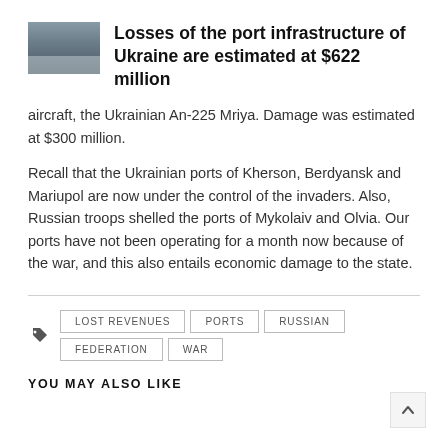Losses of the port infrastructure of Ukraine are estimated at $622 million
aircraft, the Ukrainian An-225 Mriya. Damage was estimated at $300 million.
Recall that the Ukrainian ports of Kherson, Berdyansk and Mariupol are now under the control of the invaders. Also, Russian troops shelled the ports of Mykolaiv and Olvia. Our ports have not been operating for a month now because of the war, and this also entails economic damage to the state.
LOST REVENUES
PORTS
RUSSIAN FEDERATION
WAR
YOU MAY ALSO LIKE